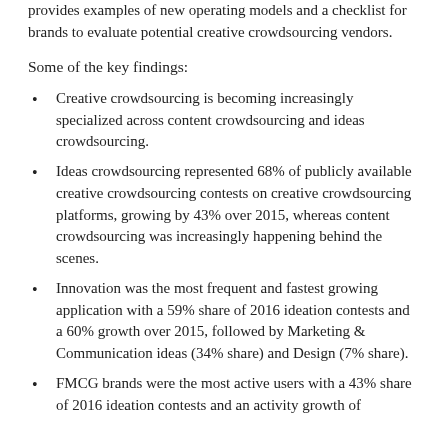provides examples of new operating models and a checklist for brands to evaluate potential creative crowdsourcing vendors.
Some of the key findings:
Creative crowdsourcing is becoming increasingly specialized across content crowdsourcing and ideas crowdsourcing.
Ideas crowdsourcing represented 68% of publicly available creative crowdsourcing contests on creative crowdsourcing platforms, growing by 43% over 2015, whereas content crowdsourcing was increasingly happening behind the scenes.
Innovation was the most frequent and fastest growing application with a 59% share of 2016 ideation contests and a 60% growth over 2015, followed by Marketing & Communication ideas (34% share) and Design (7% share).
FMCG brands were the most active users with a 43% share of 2016 ideation contests and an activity growth of